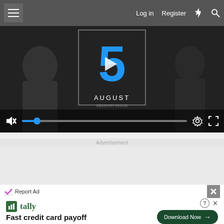Log in  Register
[Figure (screenshot): Video player showing '5 AUGUST' with blue number 5 and play button overlay, video controls bar with mute, progress bar, settings and fullscreen icons]
Advertisement
[Figure (other): Advertisement banner placeholder (grey empty area)]
Report Ad
[Figure (other): Tally advertisement: Fast credit card payoff - Download Now button]